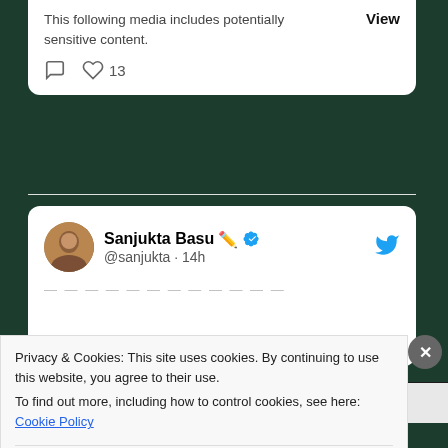[Figure (screenshot): Partial tweet card showing sensitive content warning with 'View' button and 13 likes]
This following media includes potentially sensitive content.
View
13
[Figure (screenshot): Tweet card for Sanjukta Basu @sanjukta 14h with verified badge and Twitter bird icon]
Sanjukta Basu ✏️ @sanjukta · 14h
Categories
Privacy & Cookies: This site uses cookies. By continuing to use this website, you agree to their use.
To find out more, including how to control cookies, see here: Cookie Policy
Close and accept